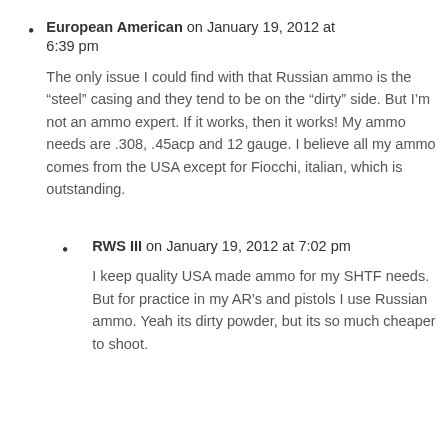European American on January 19, 2012 at 6:39 pm

The only issue I could find with that Russian ammo is the “steel” casing and they tend to be on the “dirty” side. But I’m not an ammo expert. If it works, then it works! My ammo needs are .308, .45acp and 12 gauge. I believe all my ammo comes from the USA except for Fiocchi, italian, which is outstanding.
RWS III on January 19, 2012 at 7:02 pm

I keep quality USA made ammo for my SHTF needs. But for practice in my AR’s and pistols I use Russian ammo. Yeah its dirty powder, but its so much cheaper to shoot.